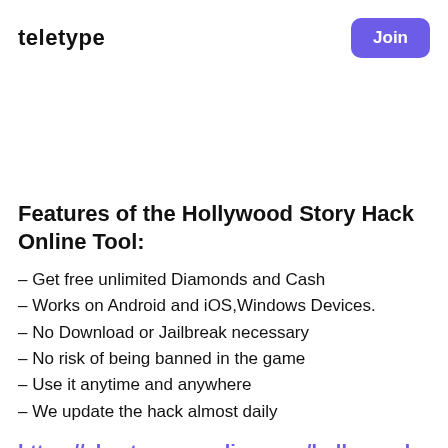TELETYPE
Join
Features of the Hollywood Story Hack Online Tool:
– Get free unlimited Diamonds and Cash
– Works on Android and iOS,Windows Devices.
– No Download or Jailbreak necessary
– No risk of being banned in the game
– Use it anytime and anywhere
– We update the hack almost daily
https://cheatgamesonline.com/hollywood-